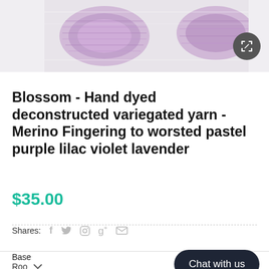[Figure (photo): Purple/lavender yarn skeins on a white wooden surface]
Blossom - Hand dyed deconstructed variegated yarn - Merino Fingering to worsted pastel purple lilac violet lavender
$35.00
Shares:  f  Twitter  Pinterest  g+  Email
Base
Roo
Chat with us